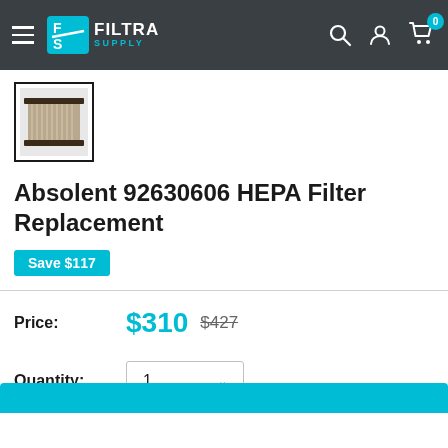Filtra Supply — navigation bar with hamburger menu, logo, search, account, and cart (0 items)
[Figure (photo): Thumbnail photo of a rectangular HEPA filter with dark frame, shown in a bordered square thumbnail]
Absolent 92630606 HEPA Filter Replacement
Save $117
Price: $310  $427
Quantity: 1